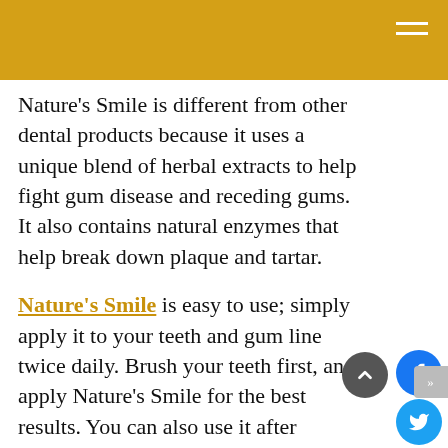Nature's Smile is different from other dental products because it uses a unique blend of herbal extracts to help fight gum disease and receding gums. It also contains natural enzymes that help break down plaque and tartar.
Nature's Smile is easy to use; simply apply it to your teeth and gum line twice daily. Brush your teeth first, and apply Nature's Smile for the best results. You can also use it after flossing. The product is safe for both adults and children. It is made with all-natural ingredients and does not contain artificial